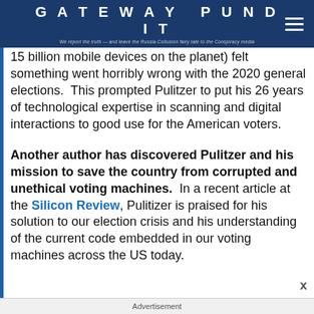GATEWAY PUNDIT — We report the truth — and leave the Russia-Collusion fairy tale to the Conspiracy media
15 billion mobile devices on the planet) felt something went horribly wrong with the 2020 general elections.  This prompted Pulitzer to put his 26 years of technological expertise in scanning and digital interactions to good use for the American voters.
Another author has discovered Pulitzer and his mission to save the country from corrupted and unethical voting machines.
In a recent article at the Silicon Review, Pulitizer is praised for his solution to our election crisis and his understanding of the current code embedded in our voting machines across the US today.
Advertisement